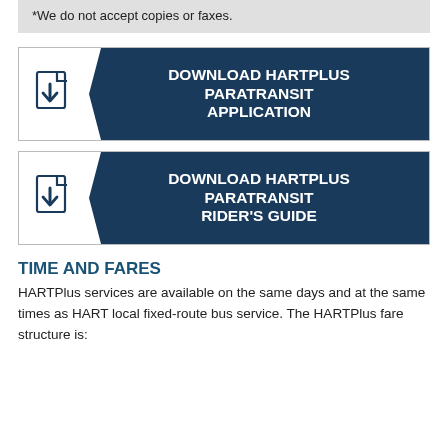*We do not accept copies or faxes.
[Figure (infographic): Download button with document icon and arrow: DOWNLOAD HARTPLUS PARATRANSIT APPLICATION]
[Figure (infographic): Download button with document icon and arrow: DOWNLOAD HARTPLUS PARATRANSIT RIDER'S GUIDE]
TIME AND FARES
HARTPlus services are available on the same days and at the same times as HART local fixed-route bus service. The HARTPlus fare structure is: